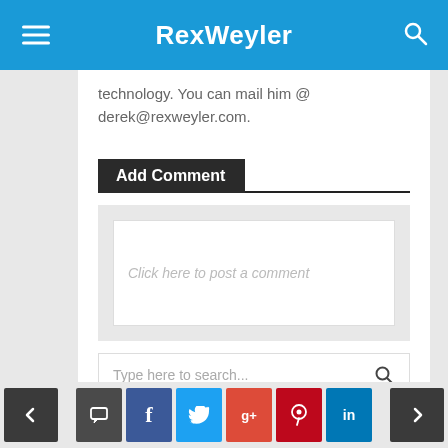RexWeyler
technology. You can mail him @ derek@rexweyler.com.
Add Comment
Click here to post a comment
Type here to search...
Recent Posts
< comment facebook twitter google+ pinterest linkedin >